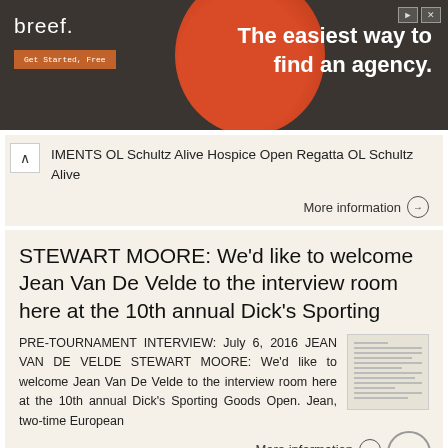[Figure (other): Advertisement banner for 'breef.' with tagline 'The easiest way to find an agency.' and a 'Get Started, Free' button.]
IMENTS OL Schultz Alive Hospice Open Regatta OL Schultz Alive
More information →
STEWART MOORE: We'd like to welcome Jean Van De Velde to the interview room here at the 10th annual Dick's Sporting
PRE-TOURNAMENT INTERVIEW: July 6, 2016 JEAN VAN DE VELDE STEWART MOORE: We'd like to welcome Jean Van De Velde to the interview room here at the 10th annual Dick's Sporting Goods Open. Jean, two-time European
More information →